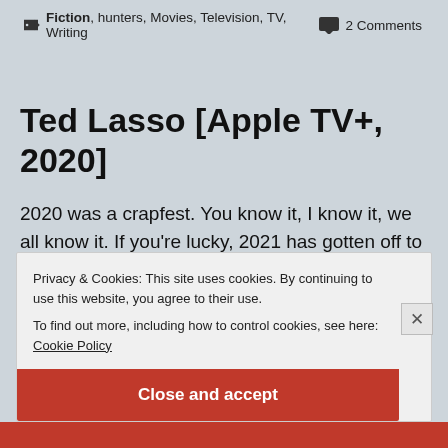Fiction, hunters, Movies, Television, TV, Writing   2 Comments
Ted Lasso [Apple TV+, 2020]
2020 was a crapfest. You know it, I know it, we all know it. If you're lucky, 2021 has gotten off to better start, but speaking personally, 2020 really kind of sucked the life out of me on many levels. I do feel like the worst of it is over (hopefully, anyway) but
Privacy & Cookies: This site uses cookies. By continuing to use this website, you agree to their use.
To find out more, including how to control cookies, see here: Cookie Policy
Close and accept